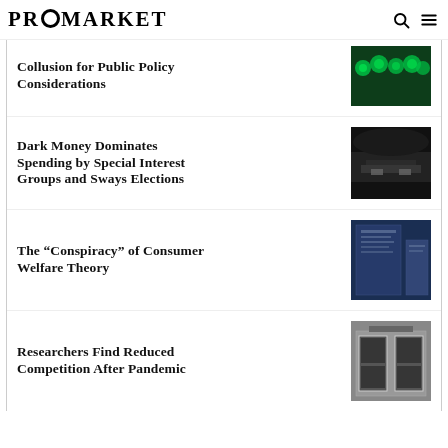PROMARKET
Collusion for Public Policy Considerations
[Figure (photo): Green glowing spheres/bubbles on dark background]
Dark Money Dominates Spending by Special Interest Groups and Sways Elections
[Figure (photo): Black and white close-up of eyes peering through darkness]
The “Conspiracy” of Consumer Welfare Theory
[Figure (photo): Blue-tinted urban building with newspaper or text overlay]
Researchers Find Reduced Competition After Pandemic
[Figure (photo): Storefront with dark windows and white frame]